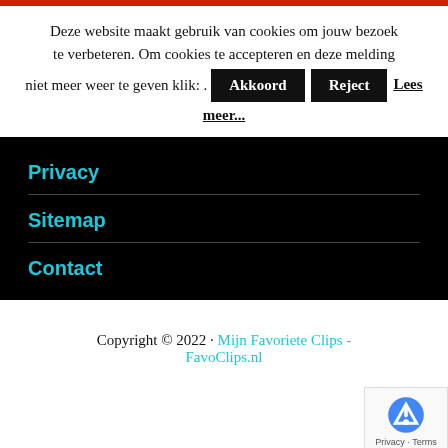Deze website maakt gebruik van cookies om jouw bezoek te verbeteren. Om cookies te accepteren en deze melding niet meer weer te geven klik: .  Akkoord  Reject  Lees meer...
Privacy
Sitemap
Contact
Copyright © 2022 · Mijn Favoriete Clips - FavoClips.nl